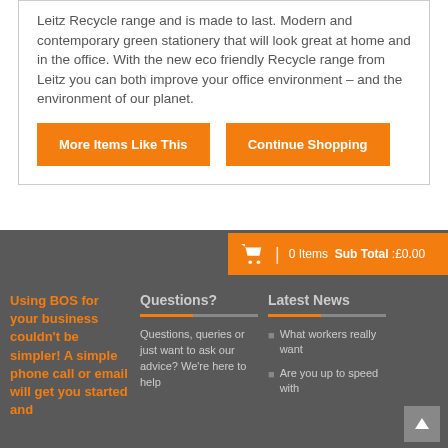Leitz Recycle range and is made to last. Modern and contemporary green stationery that will look great at home and in the office. With the new eco friendly Recycle range from Leitz you can both improve your office environment - and the environment of our planet.
More Items Like This
Continue Shopping
0 Items  Sub Total :£0.00
Using BOS for your business couldn't be simpler! A simple phone call or email will get you started and
Questions?
Questions, queries or just want to ask our advice? We're here to help
Latest News
What workers really want
Are you up to speed with